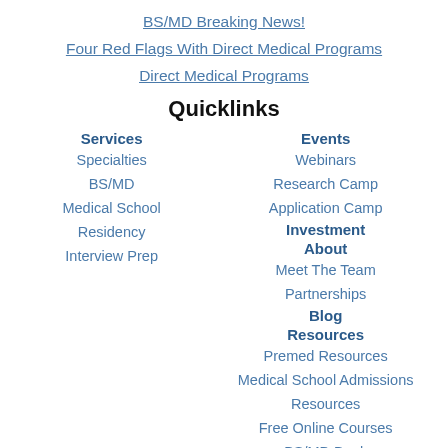BS/MD Breaking News!
Four Red Flags With Direct Medical Programs
Direct Medical Programs
Quicklinks
Services
Specialties
BS/MD
Medical School
Residency
Interview Prep
Events
Webinars
Research Camp
Application Camp
Investment
About
Meet The Team
Partnerships
Blog
Resources
Premed Resources
Medical School Admissions Resources
Free Online Courses
BS/MD Book